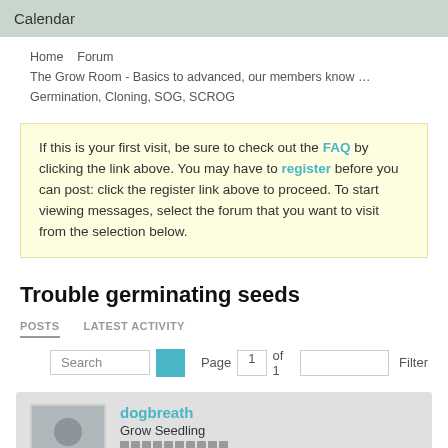Calendar
Home   Forum
The Grow Room - Basics to advanced, our members know …
Germination, Cloning, SOG, SCROG
If this is your first visit, be sure to check out the FAQ by clicking the link above. You may have to register before you can post: click the register link above to proceed. To start viewing messages, select the forum that you want to visit from the selection below.
Trouble germinating seeds
POSTS   LATEST ACTIVITY
Search   Page 1 of 1   Filter
dogbreath
Grow Seedling
Join Date: Mar 2017   Posts: 6